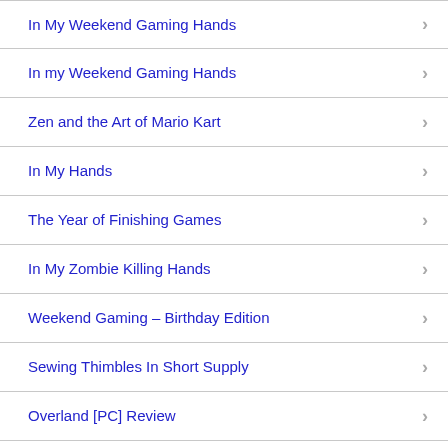In My Weekend Gaming Hands
In my Weekend Gaming Hands
Zen and the Art of Mario Kart
In My Hands
The Year of Finishing Games
In My Zombie Killing Hands
Weekend Gaming – Birthday Edition
Sewing Thimbles In Short Supply
Overland [PC] Review